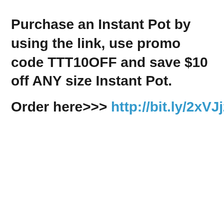Purchase an Instant Pot by using the link, use promo code TTT10OFF and save $10 off ANY size Instant Pot.
Order here>>> http://bit.ly/2xVJjzr